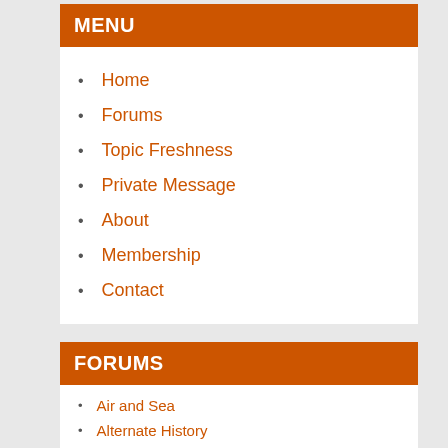MENU
Home
Forums
Topic Freshness
Private Message
About
Membership
Contact
FORUMS
Air and Sea
Alternate History
Ambush Alley Games
Ancients
Fantasy
General
Horse and Musket